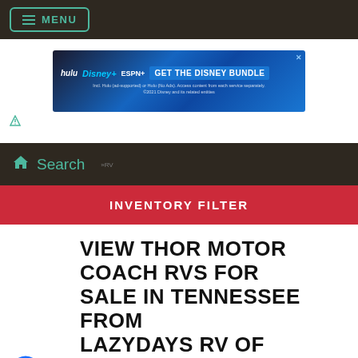≡ MENU
[Figure (screenshot): Disney Bundle advertisement banner showing Hulu, Disney+, and ESPN+ logos with text 'GET THE DISNEY BUNDLE'. Fine print reads: 'Incl. Hulu (ad-supported) or Hulu (No Ads). Access content from each service separately. ©2021 Disney and its related entities']
Search
INVENTORY FILTER
VIEW THOR MOTOR COACH RVS FOR SALE IN TENNESSEE FROM LAZYDAYS RV OF KNOXVILLE